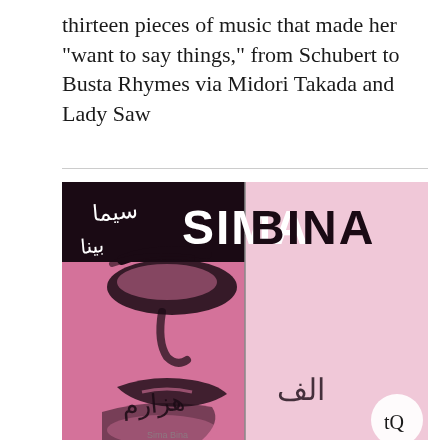thirteen pieces of music that made her "want to say things," from Schubert to Busta Rhymes via Midori Takada and Lady Saw
[Figure (illustration): Album cover for Sima Bina. Left half shows a stylized pink and black graphic portrait of a woman's face with eyes closed. Right half is light pink/white. Bold text reads 'SIMA' (white, left side) and 'BINA' (black, right side) across the top. Arabic/Persian script appears in the lower portion. Small 'tQ' logo in a white circle at bottom right.]